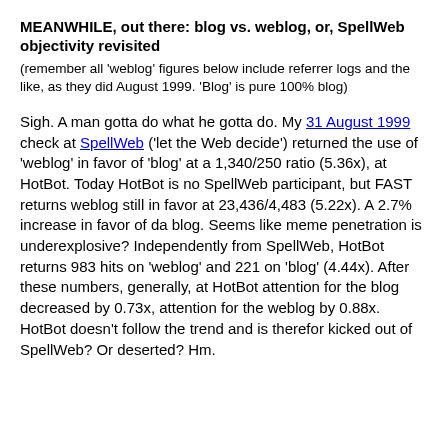MEANWHILE, out there: blog vs. weblog, or, SpellWeb objectivity revisited
(remember all 'weblog' figures below include referrer logs and the like, as they did August 1999. 'Blog' is pure 100% blog)
Sigh. A man gotta do what he gotta do. My 31 August 1999 check at SpellWeb ('let the Web decide') returned the use of 'weblog' in favor of 'blog' at a 1,340/250 ratio (5.36x), at HotBot. Today HotBot is no SpellWeb participant, but FAST returns weblog still in favor at 23,436/4,483 (5.22x). A 2.7% increase in favor of da blog. Seems like meme penetration is underexplosive? Independently from SpellWeb, HotBot returns 983 hits on 'weblog' and 221 on 'blog' (4.44x). After these numbers, generally, at HotBot attention for the blog decreased by 0.73x, attention for the weblog by 0.88x. HotBot doesn't follow the trend and is therefor kicked out of SpellWeb? Or deserted? Hm.